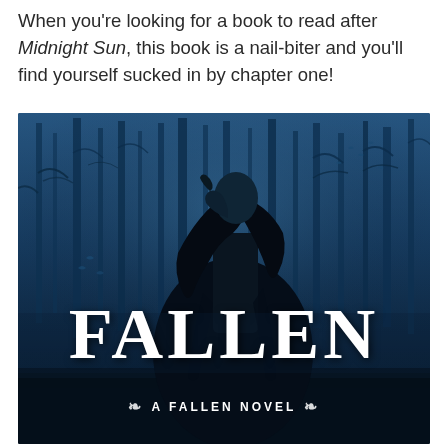When you're looking for a book to read after Midnight Sun, this book is a nail-biter and you'll find yourself sucked in by chapter one!
[Figure (illustration): Book cover of 'Fallen' showing a young woman in a black dress with dark hair, standing in a misty blue forest with bare trees and birds. Large white serif text reads 'FALLEN' and below it 'A FALLEN NOVEL' with decorative ornaments.]